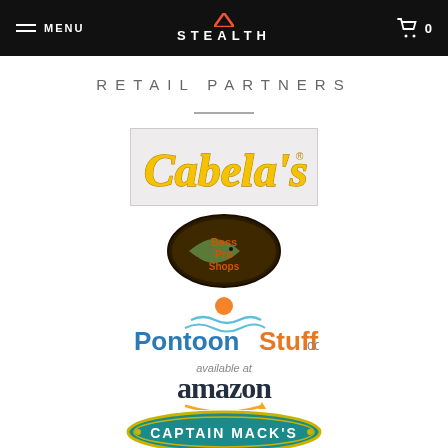MENU | STEALTH | 0
RETAIL PARTNERS
[Figure (logo): Cabela's logo in yellow italic script on light gray background]
[Figure (logo): Bass Pro Shops logo: brown oval with green fish and red/brown text]
[Figure (logo): PontoonStuff.com logo with orange sun and blue waves]
[Figure (logo): Available at Amazon logo with orange arrow]
[Figure (logo): Captain Mack's logo in teal oval with yellow border]